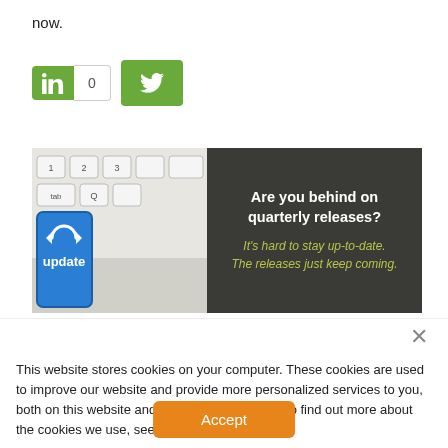now.
[Figure (screenshot): LinkedIn share button with count 0 and Twitter share button, both in green]
[Figure (infographic): Banner with keyboard/update key image on left and dark panel on right asking 'Are you behind on quarterly releases?' with subtitle 'It’s hard to stay up-to-date. The releases just keep coming.']
This website stores cookies on your computer. These cookies are used to improve our website and provide more personalized services to you, both on this website and through other media. To find out more about the cookies we use, see our Privacy Policy.